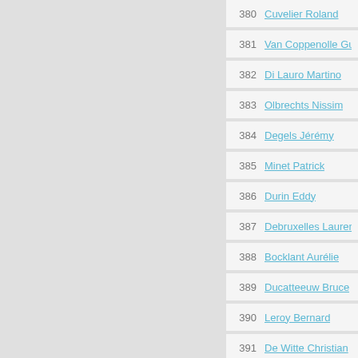380 Cuvelier Roland
381 Van Coppenolle Guillaume
382 Di Lauro Martino
383 Olbrechts Nissim
384 Degels Jérémy
385 Minet Patrick
386 Durin Eddy
387 Debruxelles Laurent
388 Bocklant Aurélie
389 Ducatteeuw Bruce
390 Leroy Bernard
391 De Witte Christian
392 Roisse Sébastien
393 Petini Maurizio